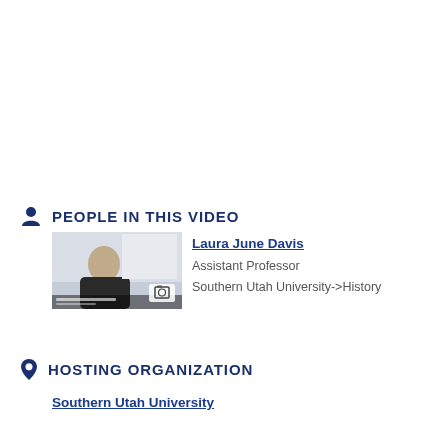PEOPLE IN THIS VIDEO
[Figure (photo): Thumbnail of Laura June Davis speaking at a lectern with a whiteboard or screen behind her, camera icon overlay in lower right]
Laura June Davis
Assistant Professor
Southern Utah University->History
HOSTING ORGANIZATION
Southern Utah University